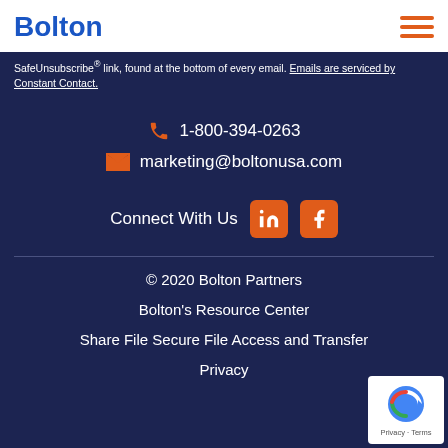Bolton
SafeUnsubscribe® link, found at the bottom of every email. Emails are serviced by Constant Contact.
1-800-394-0263
marketing@boltonusa.com
Connect With Us
© 2020 Bolton Partners
Bolton's Resource Center
Share File Secure File Access and Transfer
Privacy